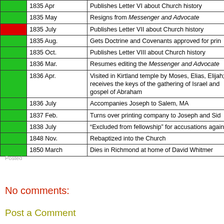|  | Date | Event |
| --- | --- | --- |
| green | 1835 Apr | Publishes Letter VI about Church history |
| green | 1835 May | Resigns from Messenger and Advocate |
| red | 1835 July | Publishes Letter VII about Church history |
| green | 1835 Aug. | Gets Doctrine and Covenants approved for print |
| green | 1835 Oct. | Publishes Letter VIII about Church history |
| green | 1836 Mar. | Resumes editing the Messenger and Advocate |
| green | 1836 Apr. | Visited in Kirtland temple by Moses, Elias, Elijah; receives the keys of the gathering of Israel and gospel of Abraham |
| green | 1836 July | Accompanies Joseph to Salem, MA |
| green | 1837 Feb. | Turns over printing company to Joseph and Sid |
| green | 1838 July | “Excluded from fellowship” for accusations again |
| green | 1848 Nov. | Rebaptized into the Church |
| green | 1850 March | Dies in Richmond at home of David Whitmer |
Posted
No comments:
Post a Comment